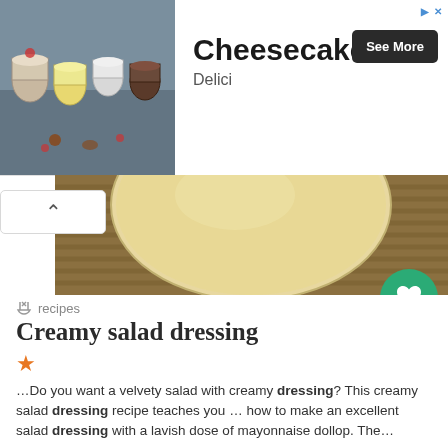[Figure (photo): Advertisement banner with cheesecakes/desserts in jars photo on the left, bold 'Cheesecakes' title text, 'Delici' subtitle, and a 'See More' dark button on the right.]
[Figure (photo): Close-up photo of a bowl of creamy salad dressing on a bamboo mat background, with a green heart/save button overlay.]
recipes
Creamy salad dressing
★
…Do you want a velvety salad with creamy dressing? This creamy salad dressing recipe teaches you … how to make an excellent salad dressing with a lavish dose of mayonnaise dollop. The…
Similar recipes like Creamy salad dressing